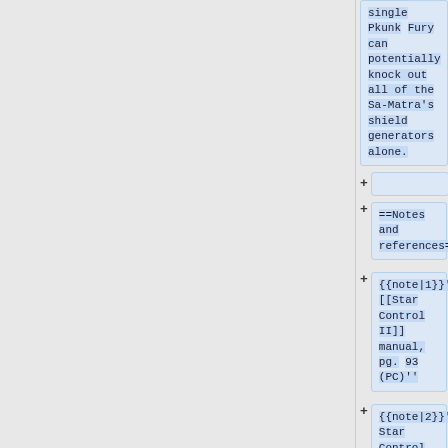single Pkunk Fury can potentially knock out all of the Sa-Matra's shield generators alone.
+
==Notes and references==
{{note|1}}''[[Star Control II]] manual, pg. 93 (PC)''
{{note|2}}''Star Control